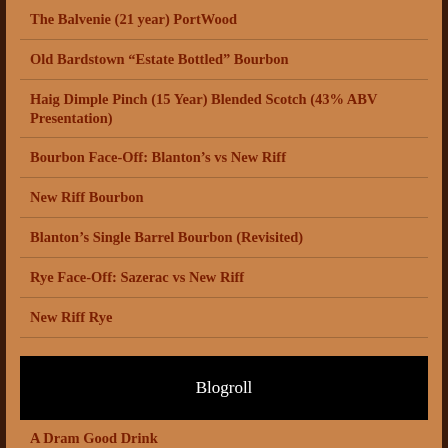The Balvenie (21 year) PortWood
Old Bardstown “Estate Bottled” Bourbon
Haig Dimple Pinch (15 Year) Blended Scotch (43% ABV Presentation)
Bourbon Face-Off: Blanton’s vs New Riff
New Riff Bourbon
Blanton’s Single Barrel Bourbon (Revisited)
Rye Face-Off: Sazerac vs New Riff
New Riff Rye
Blogroll
A Dram Good Drink
A Wee Dram Channel
All Things Whisky